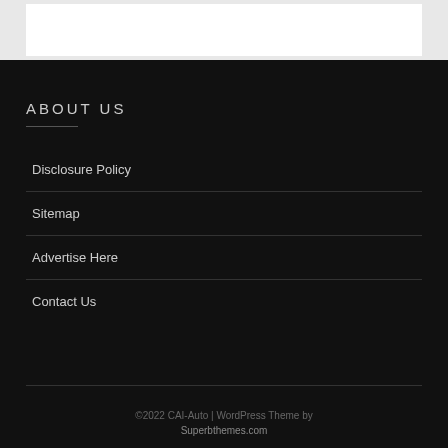ABOUT US
Disclosure Policy
Sitemap
Advertise Here
Contact Us
©2022 CAI-Auto | WordPress Theme by Superbthemes.com